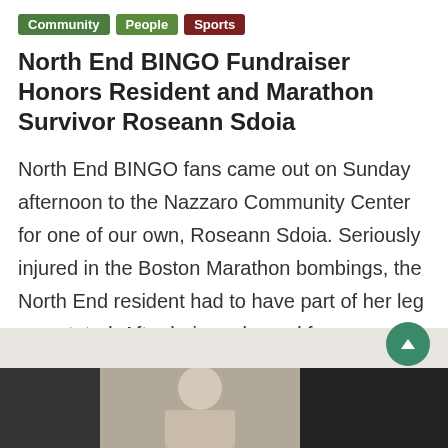Community | People | Sports
North End BINGO Fundraiser Honors Resident and Marathon Survivor Roseann Sdoia
North End BINGO fans came out on Sunday afternoon to the Nazzaro Community Center for one of our own, Roseann Sdoia. Seriously injured in the Boston Marathon bombings, the North End resident had to have part of her leg amputated. After being released from Spaulding Rehabilitation Hospital last week, Roseann was able to attend the
Read More...
Sun, May. 19, 2013   Matt Conti   Comments(4)
[Figure (photo): Photo strip at the bottom of the page showing a person (woman with blonde hair) between two dark panels]